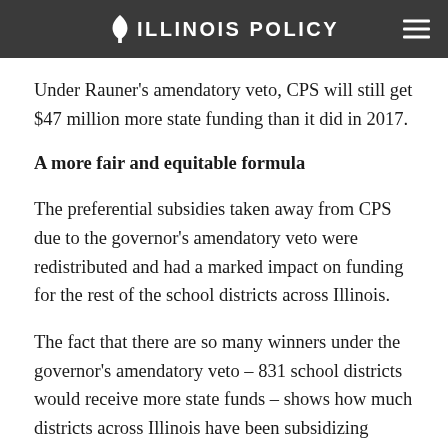ILLINOIS POLICY
Under Rauner's amendatory veto, CPS will still get $47 million more state funding than it did in 2017.
A more fair and equitable formula
The preferential subsidies taken away from CPS due to the governor's amendatory veto were redistributed and had a marked impact on funding for the rest of the school districts across Illinois.
The fact that there are so many winners under the governor's amendatory veto – 831 school districts would receive more state funds – shows how much districts across Illinois have been subsidizing Chicago